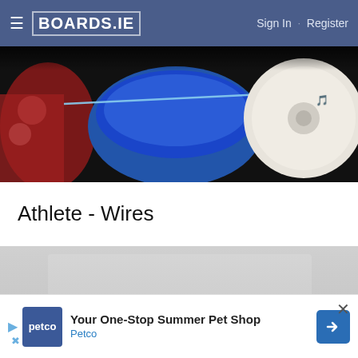BOARDS.IE  Sign In · Register
[Figure (photo): Partial photo of musical equipment including drums, a blue bowl, and what appears to be a hard drive or disc, viewed from above on a dark background]
Athlete - Wires
[Figure (photo): Partial photo showing a light gray background with a dark rounded rectangular object visible at the bottom center]
Your One-Stop Summer Pet Shop Petco